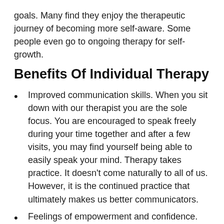goals. Many find they enjoy the therapeutic journey of becoming more self-aware. Some people even go to ongoing therapy for self-growth.
Benefits Of Individual Therapy
Improved communication skills. When you sit down with our therapist you are the sole focus. You are encouraged to speak freely during your time together and after a few visits, you may find yourself being able to easily speak your mind. Therapy takes practice. It doesn't come naturally to all of us. However, it is the continued practice that ultimately makes us better communicators.
Feelings of empowerment and confidence. Engaging in therapy and going regularly can be life-changing. Just the act of sharing your thoughts out loud with our therapists can result in you feeling like an improved version of